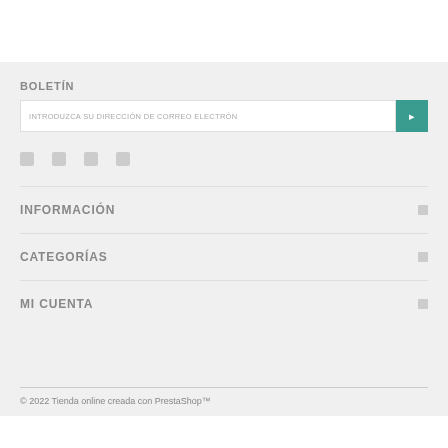BOLETÍN
INTRODUZCA SU DIRECCIÓN DE CORREO ELECTRÓN
[Figure (other): Social media icons (four small icon placeholders)]
INFORMACIÓN
CATEGORÍAS
MI CUENTA
© 2022 Tienda online creada con PrestaShop™